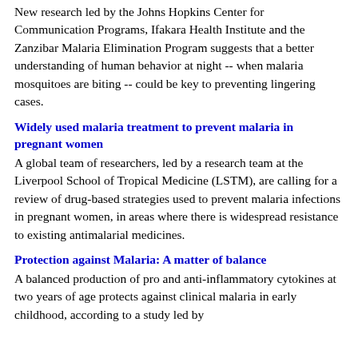New research led by the Johns Hopkins Center for Communication Programs, Ifakara Health Institute and the Zanzibar Malaria Elimination Program suggests that a better understanding of human behavior at night -- when malaria mosquitoes are biting -- could be key to preventing lingering cases.
Widely used malaria treatment to prevent malaria in pregnant women
A global team of researchers, led by a research team at the Liverpool School of Tropical Medicine (LSTM), are calling for a review of drug-based strategies used to prevent malaria infections in pregnant women, in areas where there is widespread resistance to existing antimalarial medicines.
Protection against Malaria: A matter of balance
A balanced production of pro and anti-inflammatory cytokines at two years of age protects against clinical malaria in early childhood, according to a study led by